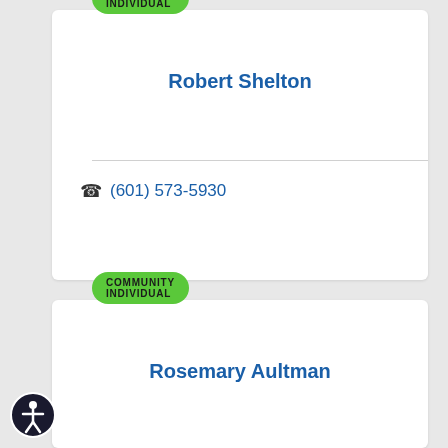COMMUNITY INDIVIDUAL
Robert Shelton
(601) 573-5930
COMMUNITY INDIVIDUAL
Rosemary Aultman